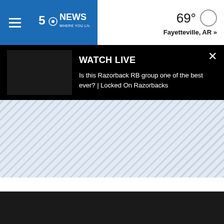5NEWS WHERE YOU LIVE — 69° Fayetteville, AR »
[Figure (screenshot): Watch Live video thumbnail — black rectangle]
WATCH LIVE
Is this Razorback RB group one of the best ever? | Locked On Razorbacks
[Figure (other): Striped ad placeholder banner]
[Figure (other): Dark background area at bottom of page]